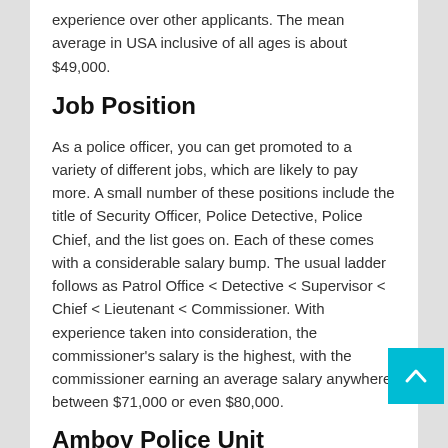experience over other applicants. The mean average in USA inclusive of all ages is about $49,000.
Job Position
As a police officer, you can get promoted to a variety of different jobs, which are likely to pay more. A small number of these positions include the title of Security Officer, Police Detective, Police Chief, and the list goes on. Each of these comes with a considerable salary bump. The usual ladder follows as Patrol Office < Detective < Supervisor < Chief < Lieutenant < Commissioner. With experience taken into consideration, the commissioner's salary is the highest, with the commissioner earning an average salary anywhere between $71,000 or even $80,000.
Amboy Police Unit
As specified some time earlier, another element that determines your income is the division you are working an illustration, in the event that you are assigned to the narcotics unit, your pay might possibly be higher than that